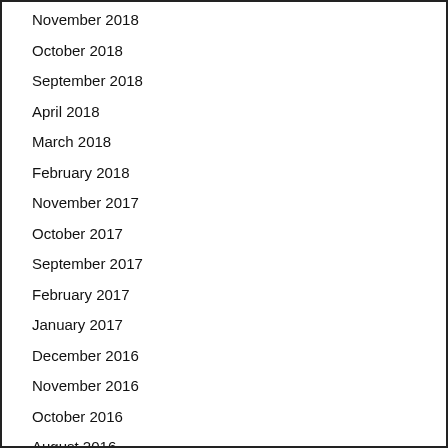November 2018
October 2018
September 2018
April 2018
March 2018
February 2018
November 2017
October 2017
September 2017
February 2017
January 2017
December 2016
November 2016
October 2016
August 2016